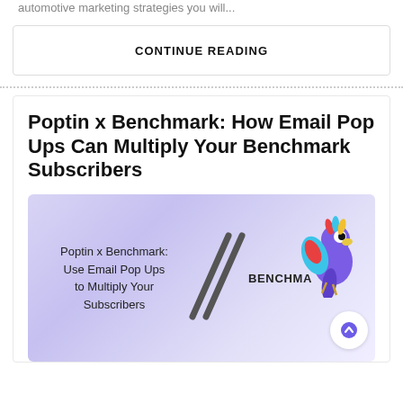automotive marketing strategies you will...
CONTINUE READING
Poptin x Benchmark: How Email Pop Ups Can Multiply Your Benchmark Subscribers
[Figure (illustration): Promotional banner with light purple gradient background. Shows text 'Poptin x Benchmark: Use Email Pop Ups to Multiply Your Subscribers', decorative slash marks, BENCHMARK logo text, a colorful parrot illustration in top right, and a white circular scroll-up arrow button.]